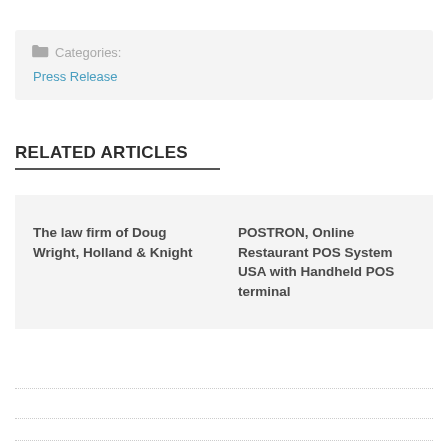Categories: Press Release
RELATED ARTICLES
The law firm of Doug Wright, Holland & Knight
POSTRON, Online Restaurant POS System USA with Handheld POS terminal